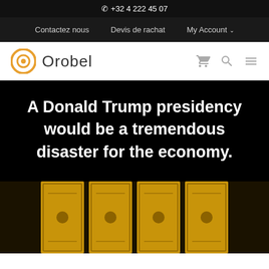+32 4 222 45 07
Contactez nous   Devis de rachat   My Account
[Figure (logo): Orobel logo with orange circular icon]
A Donald Trump presidency would be a tremendous disaster for the economy.
[Figure (photo): Gold bars with ornate decorative patterns arranged side by side]